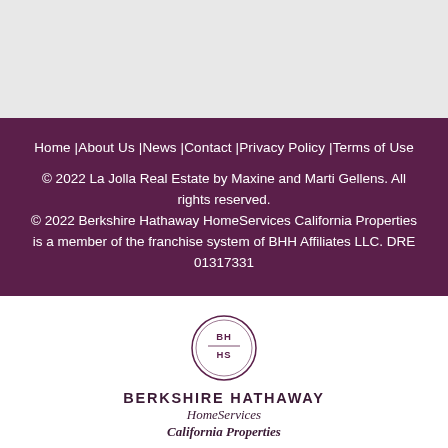Home |About Us |News |Contact |Privacy Policy |Terms of Use
© 2022 La Jolla Real Estate by Maxine and Marti Gellens. All rights reserved.
© 2022 Berkshire Hathaway HomeServices California Properties is a member of the franchise system of BHH Affiliates LLC. DRE 01317331
[Figure (logo): Berkshire Hathaway HomeServices circular logo with BH HS text inside]
BERKSHIRE HATHAWAY HomeServices California Properties
Sitemap
Realtor Websites & Real Estate Marketing